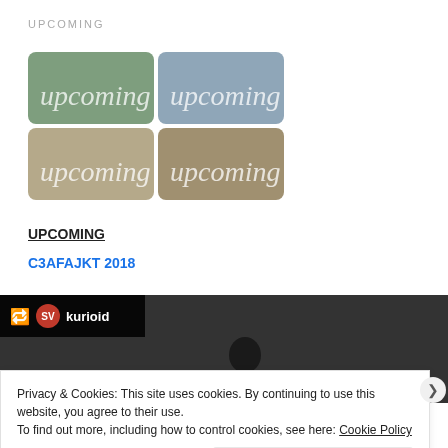UPCOMING
[Figure (logo): 2x2 grid of rounded rectangle tiles in green, blue, tan, and olive colors, each labeled 'upcoming' in cursive white script]
UPCOMING
C3AFAJKT 2018
[Figure (screenshot): Twitter/social media card with dark background showing retweet icon, red avatar, and username 'kurioid', with a dark silhouette in the background]
Privacy & Cookies: This site uses cookies. By continuing to use this website, you agree to their use.
To find out more, including how to control cookies, see here: Cookie Policy
Close and accept